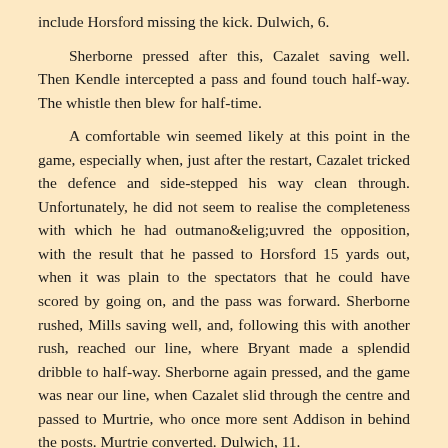include Horsford missing the kick. Dulwich, 6.

Sherborne pressed after this, Cazalet saving well. Then Kendle intercepted a pass and found touch half-way. The whistle then blew for half-time.

A comfortable win seemed likely at this point in the game, especially when, just after the restart, Cazalet tricked the defence and side-stepped his way clean through. Unfortunately, he did not seem to realise the completeness with which he had outmanœuvred the opposition, with the result that he passed to Horsford 15 yards out, when it was plain to the spectators that he could have scored by going on, and the pass was forward. Sherborne rushed, Mills saving well, and, following this with another rush, reached our line, where Bryant made a splendid dribble to half-way. Sherborne again pressed, and the game was near our line, when Cazalet slid through the centre and passed to Murtrie, who once more sent Addison in behind the posts. Murtrie converted. Dulwich, 11.

The remainder of the game was just a long series of